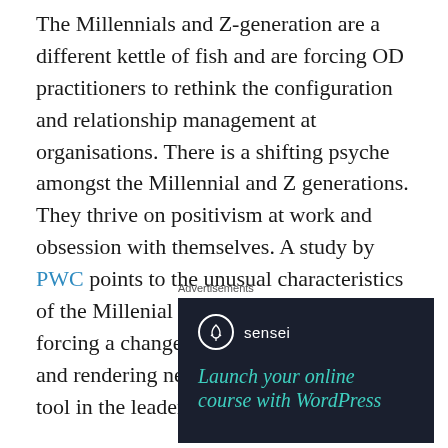The Millennials and Z-generation are a different kettle of fish and are forcing OD practitioners to rethink the configuration and relationship management at organisations. There is a shifting psyche amongst the Millennial and Z generations. They thrive on positivism at work and obsession with themselves. A study by PWC points to the unusual characteristics of the Millenial generation. They are forcing a change in the work dynamics and rendering negotiation skills a vital tool in the leader's toolbox
Advertisements
[Figure (other): Advertisement for Sensei plugin — dark background with Sensei logo (tree icon in circle) and headline 'Launch your online course with WordPress' in teal italic text.]